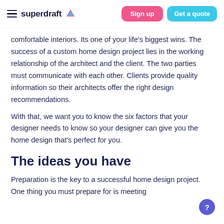superdraft | Sign up | Get a quote
comfortable interiors. Its one of your life's biggest wins. The success of a custom home design project lies in the working relationship of the architect and the client. The two parties must communicate with each other. Clients provide quality information so their architects offer the right design recommendations.
With that, we want you to know the six factors that your designer needs to know so your designer can give you the home design that's perfect for you.
The ideas you have
Preparation is the key to a successful home design project. One thing you must prepare for is meeting